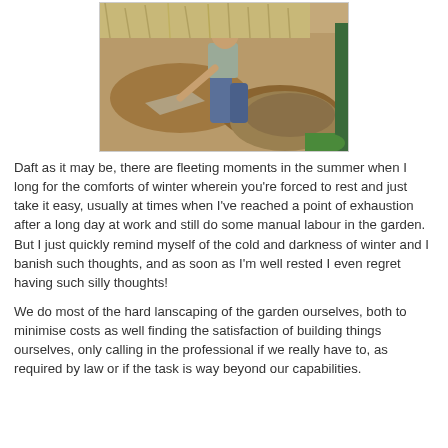[Figure (photo): A person crouching down doing excavation or landscaping work in dry dirt/soil, holding a flat rock or slab, with a green post visible at the right edge.]
Daft as it may be, there are fleeting moments in the summer when I long for the comforts of winter wherein you're forced to rest and just take it easy, usually at times when I've reached a point of exhaustion after a long day at work and still do some manual labour in the garden. But I just quickly remind myself of the cold and darkness of winter and I banish such thoughts, and as soon as I'm well rested I even regret having such silly thoughts!
We do most of the hard lanscaping of the garden ourselves, both to minimise costs as well finding the satisfaction of building things ourselves, only calling in the professional if we really have to, as required by law or if the task is way beyond our capabilities.